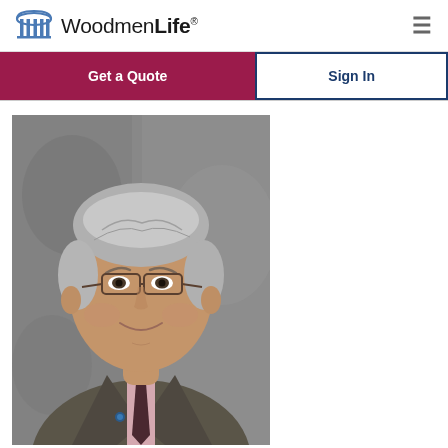WoodmenLife — Get a Quote | Sign In
[Figure (logo): WoodmenLife logo with dome/pillars icon and company name]
[Figure (photo): Professional headshot of a middle-aged man with gray hair and glasses, wearing a gray suit, pink shirt, and dark tie, posed against a gray background]